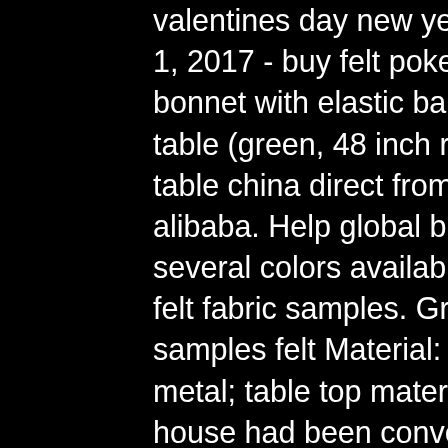valentines day new year mothers day christmas gift. Jan 1, 2017 - buy felt poker table cover - patio tablecloth bonnet with elastic band- for round 36 inch table - patio table (green, 48 inch round): table. Buy green felt poker table china direct from green felt poker table factories at alibaba. Help global buyers source china easily. We have several colors available to cover your poker tables. Table felt fabric samples. Green velveteen fabric poker table samples felt Material: felt, metal, plastic; frame material: metal; table top material. The garage behind ludlum's house had been converted into a plywoodpaneled room containing a large round poker table with green felt topping. Buy green felt poker table china direct from green felt poker table factories at alibaba. Help global buyers source china easily. Snooker tables use smaller pockets compared to pool tables and rounded cushions at the poker openings. Casino